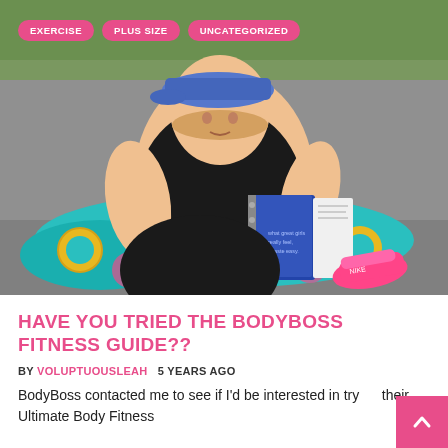[Figure (photo): A plus-size woman in black athletic wear and blue cap sitting on a colorful yoga mat outdoors, reading a blue spiral notebook. She is wearing pink sneakers. Tags 'EXERCISE', 'PLUS SIZE', 'UNCATEGORIZED' are overlaid on the photo.]
HAVE YOU TRIED THE BODYBOSS FITNESS GUIDE??
BY VOLUPTUOUSLEAH   5 YEARS AGO
BodyBoss contacted me to see if I'd be interested in trying their Ultimate Body Fitness